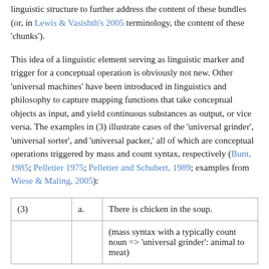linguistic structure to further address the content of these bundles (or, in Lewis & Vasishth's 2005 terminology, the content of these 'chunks').
This idea of a linguistic element serving as linguistic marker and trigger for a conceptual operation is obviously not new. Other 'universal machines' have been introduced in linguistics and philosophy to capture mapping functions that take conceptual objects as input, and yield continuous substances as output, or vice versa. The examples in (3) illustrate cases of the 'universal grinder', 'universal sorter', and 'universal packer,' all of which are conceptual operations triggered by mass and count syntax, respectively (Bunt, 1985; Pelletier 1975; Pelletier and Schubert, 1989; examples from Wiese & Maling, 2005):
| (3) | a. | There is chicken in the soup. |
|  |  | (mass syntax with a typically count noun => 'universal grinder': animal to meat) |